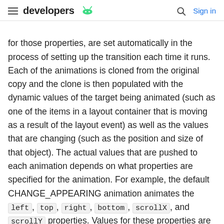developers [android logo] | [search icon] Sign in
for those properties, are set automatically in the process of setting up the transition each time it runs. Each of the animations is cloned from the original copy and the clone is then populated with the dynamic values of the target being animated (such as one of the items in a layout container that is moving as a result of the layout event) as well as the values that are changing (such as the position and size of that object). The actual values that are pushed to each animation depends on what properties are specified for the animation. For example, the default CHANGE_APPEARING animation animates the left, top, right, bottom, scrollX, and scrollY properties. Values for these properties are updated with the pre- and post-layout values when the transition begins. Custom animations will be similarly populated with the target and values being animated, assuming they use ObjectAnimator objects with property names that ...